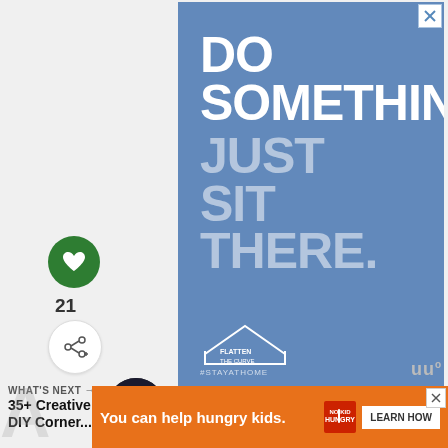[Figure (illustration): Blue advertisement banner with bold white text 'DO SOMETHING.' and lighter text 'JUST SIT THERE.' with a 'Flatten the Curve' logo and '#STAYATHOME' hashtag. Close (X) button in top right corner.]
21
WHAT'S NEXT → 35+ Creative DIY Corner...
[Figure (illustration): Orange advertisement banner: 'You can help hungry kids.' with No Kid Hungry fork icon logo and 'LEARN HOW' button. Close (X) button in top right.]